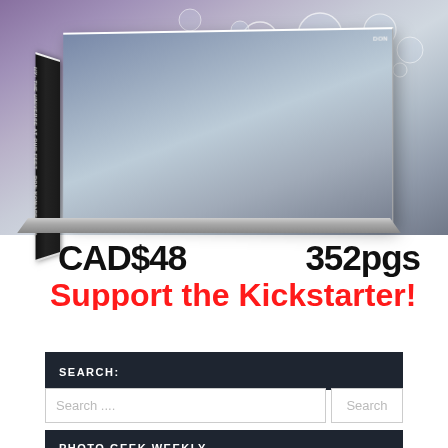[Figure (photo): Photo book cover showing water droplets/bubbles on dark background, book titled 'HY: THE UNIVERSE AT OUR FEET by DON KOMARECHKA', with price CAD$48 and 352pgs text overlaid]
CAD$48
352pgs
Support the Kickstarter!
SEARCH:
Search ....
Search
PHOTO GEEK WEEKLY